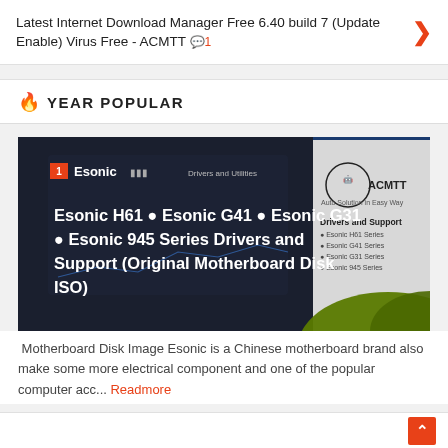Latest Internet Download Manager Free 6.40 build 7 (Update Enable) Virus Free - ACMTT 💬1
🔥 YEAR POPULAR
[Figure (screenshot): Screenshot showing Esonic motherboard drivers and utilities page with ACMTT logo, overlaid with bold white text: 'Esonic H61 ● Esonic G41 ● Esonic G31 ● Esonic 945 Series Drivers and Support (Original Motherboard Disk ISO)']
Motherboard Disk Image Esonic is a Chinese motherboard brand also make some more electrical component and one of the popular computer acc... Readmore